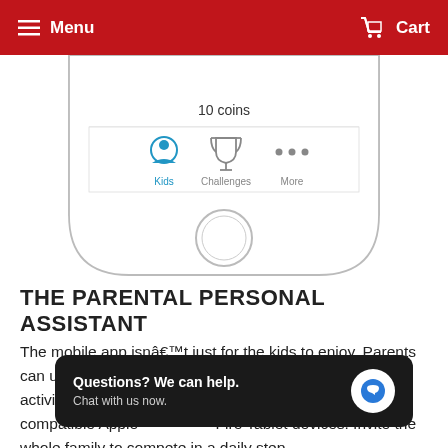Menu  Cart
[Figure (screenshot): Screenshot of a smartphone app showing bottom navigation bar with Kids (selected, blue), Challenges (trophy icon), and More (three dots) tabs. The screen shows '10 coins' text above the nav bar. Below the phone screen is a circular home button.]
THE PARENTAL PERSONAL ASSISTANT
The mobile app isnâ€™t just for the kids to enjoy. Parents can use it to manage the vÃvofit jr. 2 fitness tracker. View activity, responsibilities, s[...] fter syncing with compatible Apple[...] Fire Tablet devices. Invite the whole family to compete in a daily step
[Figure (screenshot): Chat widget overlay showing 'Questions? We can help. Chat with us now.' with a blue speech bubble icon on dark background.]